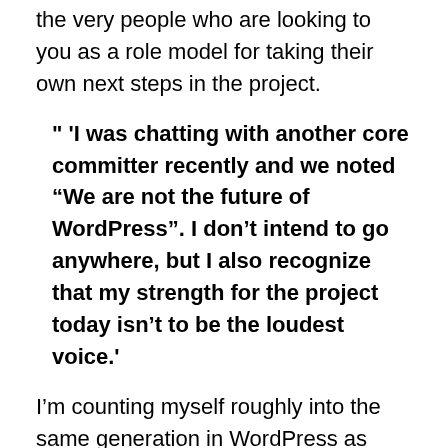the very people who are looking to you as a role model for taking their own next steps in the project.
" 'I was chatting with another core committer recently and we noted “We are not the future of WordPress”. I don’t intend to go anywhere, but I also recognize that my strength for the project today isn’t to be the loudest voice.'
I’m counting myself roughly into the same generation in WordPress as Aaron, and OMG, am I not the future of it. It actually feels like I’m less and less part of its present. I feel I just